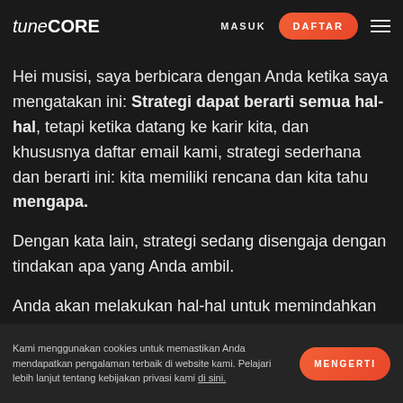tunecore | MASUK | DAFTAR
Hei musisi, saya berbicara dengan Anda ketika saya mengatakan ini: Strategi dapat berarti semua hal-hal, tetapi ketika datang ke karir kita, dan khususnya daftar email kami, strategi sederhana dan berarti ini: kita memiliki rencana dan kita tahu mengapa.
Dengan kata lain, strategi sedang disengaja dengan tindakan apa yang Anda ambil.
Anda akan melakukan hal-hal untuk memindahkan karir Anda ke depan. Anda mungkin juga melakukan hal-hal yang akan membuat perbedaan. Jika Anda
Kami menggunakan cookies untuk memastikan Anda mendapatkan pengalaman terbaik di website kami. Pelajari lebih lanjut tentang kebijakan privasi kami di sini. | MENGERTI